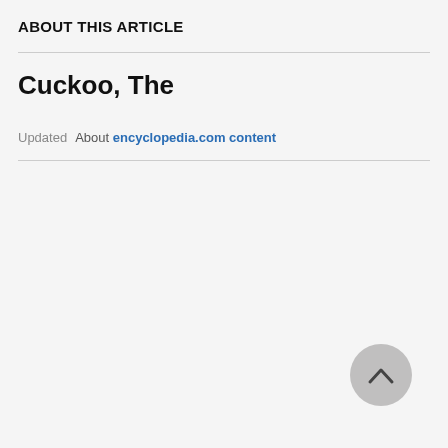ABOUT THIS ARTICLE
Cuckoo, The
Updated   About encyclopedia.com content